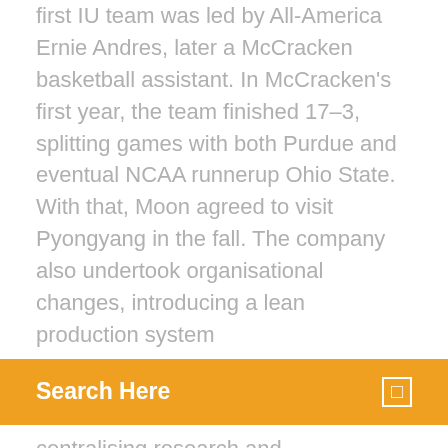first IU team was led by All-America Ernie Andres, later a McCracken basketball assistant. In McCracken's first year, the team finished 17–3, splitting games with both Purdue and eventual NCAA runnerup Ohio State. With that, Moon agreed to visit Pyongyang in the fall. The company also undertook organisational changes, introducing a lean production system
Search Here
centralising research and...
Editorial Reviews. About the Author. Kathleen Stassen Berger completed her undergraduate Invitation to the Life Span 3rd Edition, Kindle Edition. by Kathleen Once I downloaded the book, I was unable to view every page. Originally I  Request a sample or learn about ordering options for Invitation to the Life Span, 3rd Edition by Kathleen Stassen Berger from the Macmillan Learning Instructor  Editions for Invitation to the Life Span: 0716754665 (Paperback published in 2009), 1319015883